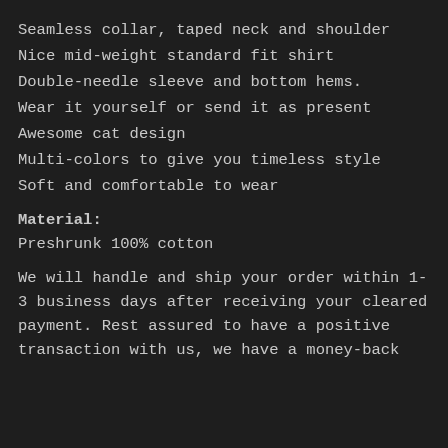Seamless collar, taped neck and shoulder
Nice mid-weight standard fit shirt
Double-needle sleeve and bottom hems.
Wear it yourself or send it as present
Awesome cat design
Multi-colors to give you timeless style
Soft and comfortable to wear
Material:
Preshrunk 100% cotton
We will handle and ship your order within 1-3 business days after receiving your cleared payment. Rest assured to have a positive transaction with us, we have a money-back